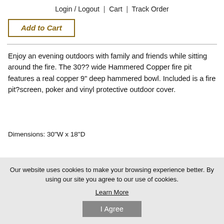Login / Logout  |  Cart  |  Track Order
[Figure (other): Add to Cart button with golden/brown border and italic text]
Enjoy an evening outdoors with family and friends while sitting around the fire. The 30?? wide Hammered Copper fire pit features a real copper 9" deep hammered bowl. Included is a fire pit?screen, poker and vinyl protective outdoor cover.
Dimensions: 30"W x 18"D
Our website uses cookies to make your browsing experience better. By using our site you agree to our use of cookies.
Learn More
I Agree